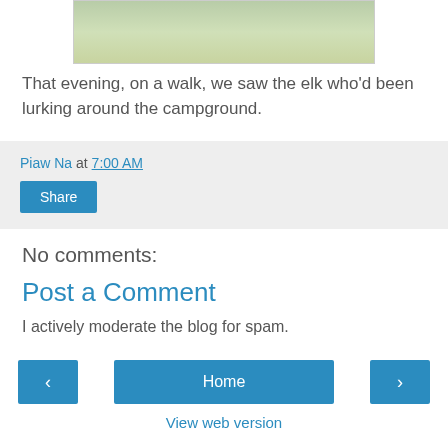[Figure (photo): Partial photo at top of page showing elk or wildlife near campground, partially cropped]
That evening, on a walk, we saw the elk who'd been lurking around the campground.
Piaw Na at 7:00 AM
Share
No comments:
Post a Comment
I actively moderate the blog for spam.
‹   Home   ›   View web version